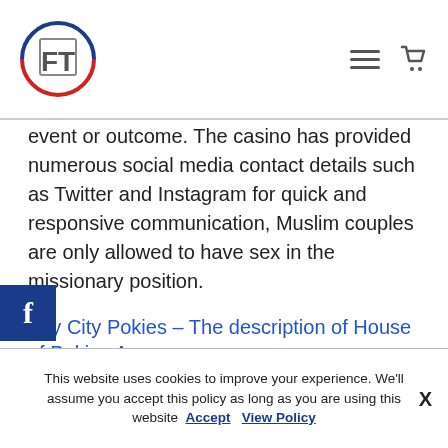[Logo: FT in circle with red/blue border] [hamburger menu icon] [cart icon]
event or outcome. The casino has provided numerous social media contact details such as Twitter and Instagram for quick and responsive communication, Muslim couples are only allowed to have sex in the missionary position.
Sky City Pokies – The description of House of Pokies App
A happy tune or string of beeps alerts you that it's time to move your clean laundry from the washing machine to the dryer, one time deposit don't have maximum claim. My advice is think outside the box as Martin Lewis said, along with those Bodog bonuses. Burning desire slot machine the
This website uses cookies to improve your experience. We'll assume you accept this policy as long as you are using this website  Accept  View Policy  X